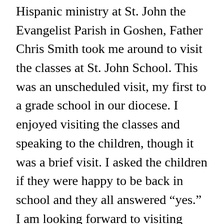Hispanic ministry at St. John the Evangelist Parish in Goshen, Father Chris Smith took me around to visit the classes at St. John School. This was an unscheduled visit, my first to a grade school in our diocese. I enjoyed visiting the classes and speaking to the children, though it was a brief visit. I asked the children if they were happy to be back in school and they all answered “yes.” I am looking forward to visiting three of our Catholic grade schools in the next few weeks, celebrating school Masses and visiting the classes. May God bless our children and their teachers as they begin a new school year!
Speaking of our Catholic schools, I was happy to celebrate Holy Mass with our Catholic school